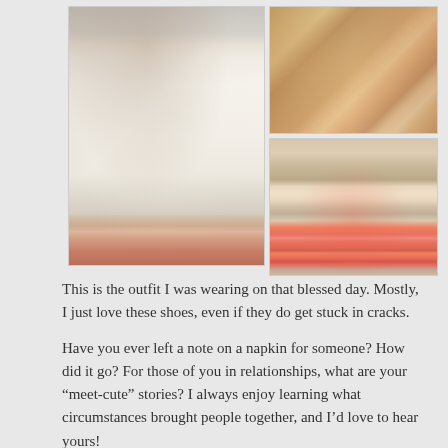[Figure (photo): Photo collage of a fashion outfit. Left: woman in white dress and neon coral/pink strappy heels standing by a door. Top right: close-up of gold and coral stacked bangles/bracelets on wrist. Bottom right: close-up of neon coral/pink strappy sandal heels on feet.]
This is the outfit I was wearing on that blessed day. Mostly, I just love these shoes, even if they do get stuck in cracks.
Have you ever left a note on a napkin for someone? How did it go? For those of you in relationships, what are your “meet-cute” stories? I always enjoy learning what circumstances brought people together, and I’d love to hear yours!